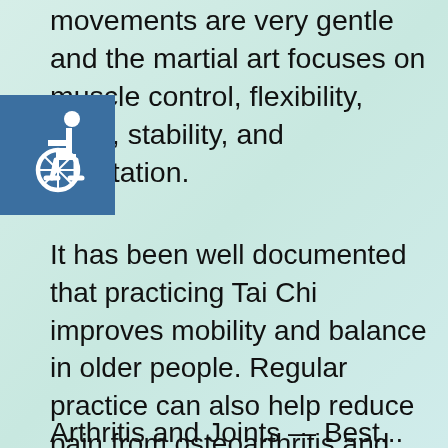movements are very gentle and the martial art focuses on muscle control, flexibility, ance, stability, and meditation.
[Figure (illustration): Wheelchair accessibility icon — white wheelchair symbol on blue square background]
It has been well documented that practicing Tai Chi improves mobility and balance in older people. Regular practice can also help reduce pain from osteoarthritis and other joints as well as significantly reducing the risk of falling among older adults. In this article we will take a look at debilitating conditions that can be managed with as little as a couple of months of continuously practicing Tai Chi.
Arthritis and Joints — Best...